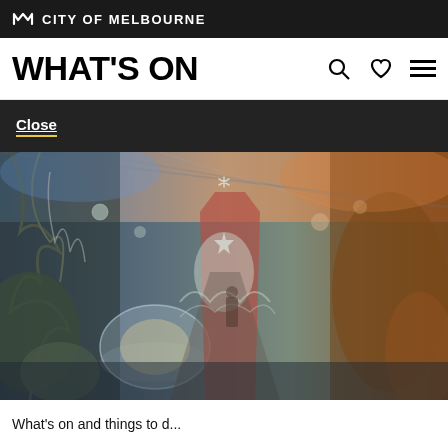City of Melbourne
WHAT'S ON
Close
[Figure (photo): Interior of a richly decorated Christmas market or festive display space with a glass/greenhouse roof, filled with white and silver botanical decorations, Christmas trees, ornaments, dried plants, suspended decorations. A person is visible in the middle distance. Warm orange/amber lights on the right, soft blue-green tones on the left. A red structure visible in the background.]
What's on and things to d...